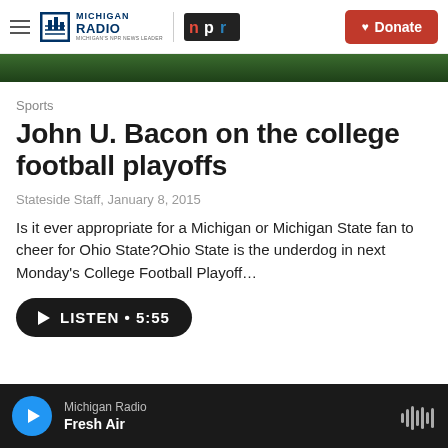Michigan Radio | NPR | Donate
[Figure (photo): Dark green/outdoor image strip at top of article]
Sports
John U. Bacon on the college football playoffs
Stateside Staff,  January 8, 2015
Is it ever appropriate for a Michigan or Michigan State fan to cheer for Ohio State?Ohio State is the underdog in next Monday's College Football Playoff…
LISTEN • 5:55
Michigan Radio | Fresh Air